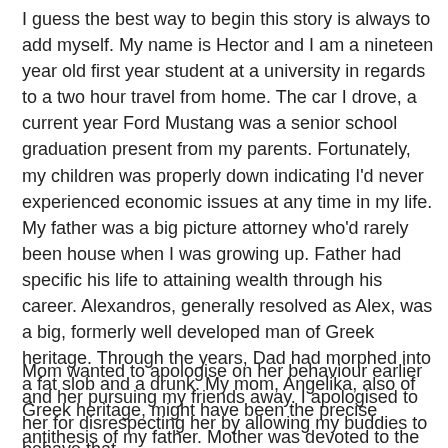I guess the best way to begin this story is always to add myself. My name is Hector and I am a nineteen year old first year student at a university in regards to a two hour travel from home. The car I drove, a current year Ford Mustang was a senior school graduation present from my parents. Fortunately, my children was properly down indicating I'd never experienced economic issues at any time in my life. My father was a big picture attorney who'd rarely been house when I was growing up. Father had specific his life to attaining wealth through his career. Alexandros, generally resolved as Alex, was a big, formerly well developed man of Greek heritage. Through the years, Dad had morphed into a fat slob and a drunk. My mom, Angelika, also of Greek heritage, might have been the precise antithesis of my father. Mother was devoted to the Free Adult Webcams,  extensive household, myself, and our home.
Mom wanted to apologise on her behaviour earlier and her pursuing my friends away. I apologised to her for disrespecting her by allowing my buddies to behave that